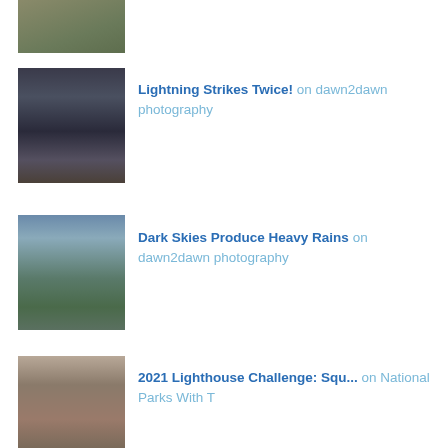[Figure (photo): Rocks/ruins photo thumbnail at top]
[Figure (photo): Lightning storm photo thumbnail]
Lightning Strikes Twice! on dawn2dawn photography
[Figure (photo): Dark skies and mountains photo thumbnail]
Dark Skies Produce Heavy Rains on dawn2dawn photography
[Figure (photo): Lighthouse/tower building photo thumbnail]
2021 Lighthouse Challenge: Squ... on National Parks With T
[Figure (photo): Row of avatar/profile thumbnails at the bottom]